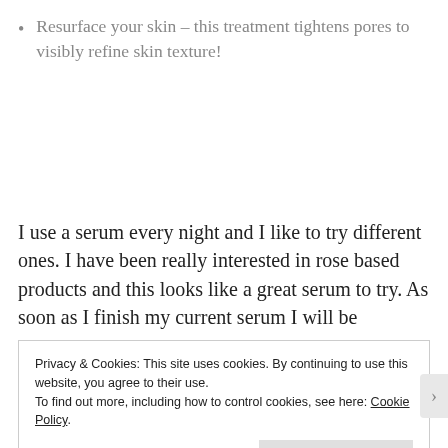Resurface your skin – this treatment tightens pores to visibly refine skin texture!
I use a serum every night and I like to try different ones. I have been really interested in rose based products and this looks like a great serum to try. As soon as I finish my current serum I will be
Privacy & Cookies: This site uses cookies. By continuing to use this website, you agree to their use.
To find out more, including how to control cookies, see here: Cookie Policy.